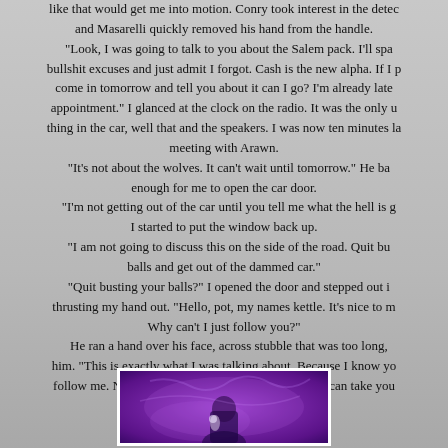like that would get me into motion. Conry took interest in the detec and Masarelli quickly removed his hand from the handle. "Look, I was going to talk to you about the Salem pack. I'll spa bullshit excuses and just admit I forgot. Cash is the new alpha. If I p come in tomorrow and tell you about it can I go? I'm already late appointment." I glanced at the clock on the radio. It was the only u thing in the car, well that and the speakers. I was now ten minutes l meeting with Arawn. "It's not about the wolves. It can't wait until tomorrow." He ba enough for me to open the car door. "I'm not getting out of the car until you tell me what the hell is g I started to put the window back up. "I am not going to discuss this on the side of the road. Quit bu balls and get out of the dammed car." "Quit busting your balls?" I opened the door and stepped out i thrusting my hand out. "Hello, pot, my names kettle. It's nice to m Why can't I just follow you?" He ran a hand over his face, across stubble that was too long, him. "This is exactly what I was talking about. Because I know yo follow me. Now would you please get in my car so I can take you
[Figure (photo): A photo with purple/violet background showing a partial figure, framed in white]